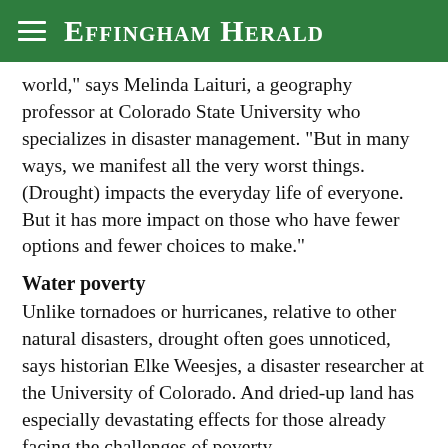Effingham Herald
world," says Melinda Laituri, a geography professor at Colorado State University who specializes in disaster management. "But in many ways, we manifest all the very worst things. (Drought) impacts the everyday life of everyone. But it has more impact on those who have fewer options and fewer choices to make."
Water poverty
Unlike tornadoes or hurricanes, relative to other natural disasters, drought often goes unnoticed, says historian Elke Weesjes, a disaster researcher at the University of Colorado. And dried-up land has especially devastating effects for those already facing the challenges of poverty.